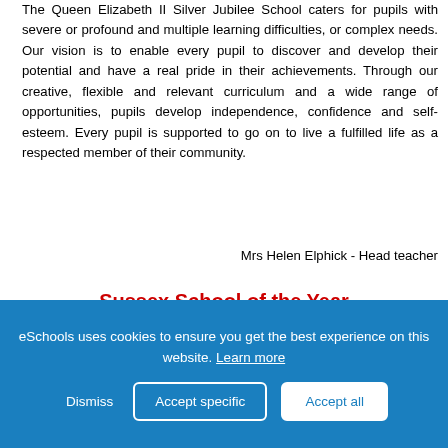The Queen Elizabeth II Silver Jubilee School caters for pupils with severe or profound and multiple learning difficulties, or complex needs. Our vision is to enable every pupil to discover and develop their potential and have a real pride in their achievements. Through our creative, flexible and relevant curriculum and a wide range of opportunities, pupils develop independence, confidence and self-esteem. Every pupil is supported to go on to live a fulfilled life as a respected member of their community.
Mrs Helen Elphick - Head teacher
Sussex School of the Year
We are delighted to have been named School of the Year at the Best of Sussex Community Awards.
Click here to find out more!
[Figure (other): Blue gradient banner/image section]
eSchools uses cookies to ensure you get the best experience on this website. Learn more
Dismiss  Accept specific  Accept all